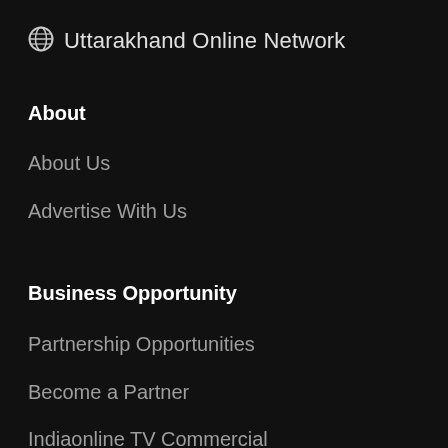Uttarakhand Online Network
About
About Us
Advertise With Us
Business Opportunity
Partnership Opportunities
Become a Partner
Indiaonline TV Commercial
Contact